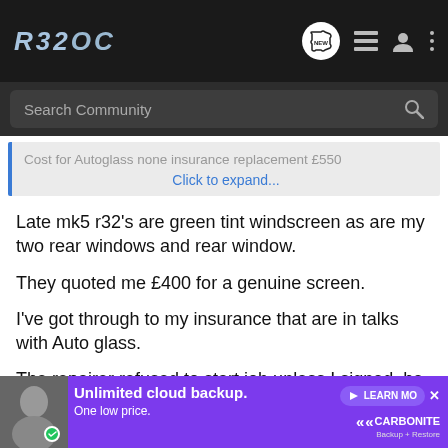R32OC
Search Community
Cost for Autoglass none insurance replacement £550
Click to expand...
Late mk5 r32's are green tint windscreen as are my two rear windows and rear window.
They quoted me £400 for a genuine screen.
I've got through to my insurance that are in talks with Auto glass.
The repairer refused to start job unless I signed, he never mentioned it would be an aftermarket screen.
[Figure (screenshot): Advertisement banner for Carbonite unlimited cloud backup at one low price with Learn More button]